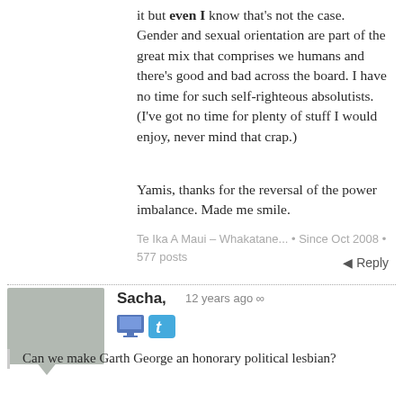it but even I know that's not the case. Gender and sexual orientation are part of the great mix that comprises we humans and there's good and bad across the board. I have no time for such self-righteous absolutists. (I've got no time for plenty of stuff I would enjoy, never mind that crap.)
Yamis, thanks for the reversal of the power imbalance. Made me smile.
Te Ika A Maui – Whakatane... • Since Oct 2008 • 577 posts
Reply
Sacha, 12 years ago ∞
Can we make Garth George an honorary political lesbian?
I always thought there was something suspiciously feminine about his features.
Still not as shifty as that Paul Henry fella, but.